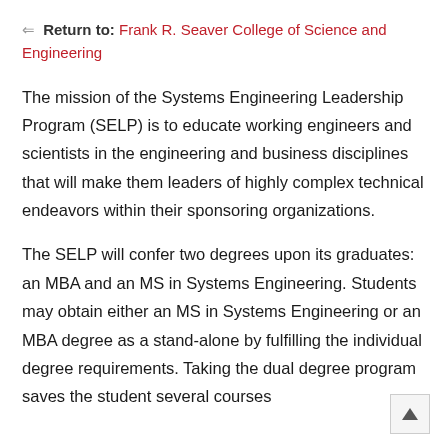← Return to: Frank R. Seaver College of Science and Engineering
The mission of the Systems Engineering Leadership Program (SELP) is to educate working engineers and scientists in the engineering and business disciplines that will make them leaders of highly complex technical endeavors within their sponsoring organizations.
The SELP will confer two degrees upon its graduates: an MBA and an MS in Systems Engineering. Students may obtain either an MS in Systems Engineering or an MBA degree as a stand-alone by fulfilling the individual degree requirements. Taking the dual degree program saves the student several courses